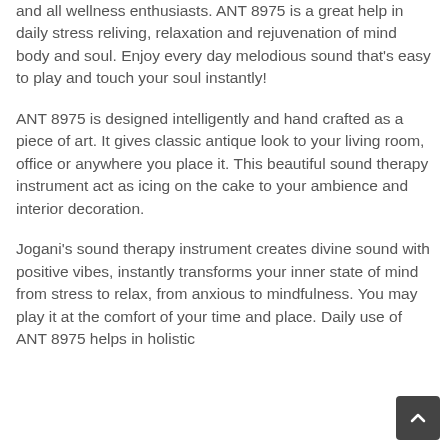and all wellness enthusiasts. ANT 8975 is a great help in daily stress reliving, relaxation and rejuvenation of mind body and soul. Enjoy every day melodious sound that's easy to play and touch your soul instantly!
ANT 8975 is designed intelligently and hand crafted as a piece of art. It gives classic antique look to your living room, office or anywhere you place it. This beautiful sound therapy instrument act as icing on the cake to your ambience and interior decoration.
Jogani's sound therapy instrument creates divine sound with positive vibes, instantly transforms your inner state of mind from stress to relax, from anxious to mindfulness. You may play it at the comfort of your time and place. Daily use of ANT 8975 helps in holistic